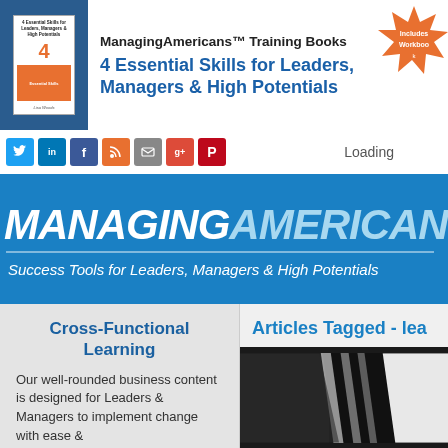[Figure (screenshot): ManagingAmericans Training Books banner ad showing book cover for '4 Essential Skills for Leaders, Managers & High Potentials' by Lisa Woods with an orange starburst saying 'Includes Workbook']
Loading
[Figure (infographic): Social media icons: Twitter, LinkedIn, Facebook, RSS, Email, Google+, Pinterest]
[Figure (logo): ManagingAmericans.com logo on blue background with tagline 'Success Tools for Leaders, Managers & High Potentials']
Articles Tagged - lea
Cross-Functional Learning
Our well-rounded business content is designed for Leaders & Managers to implement change with ease &
[Figure (photo): Close-up photo of a man in a suit with black and white tie]